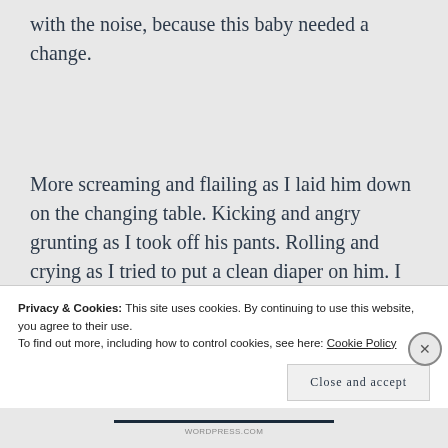with the noise, because this baby needed a change.
More screaming and flailing as I laid him down on the changing table. Kicking and angry grunting as I took off his pants. Rolling and crying as I tried to put a clean diaper on him. I finally
Privacy & Cookies: This site uses cookies. By continuing to use this website, you agree to their use.
To find out more, including how to control cookies, see here: Cookie Policy
Close and accept